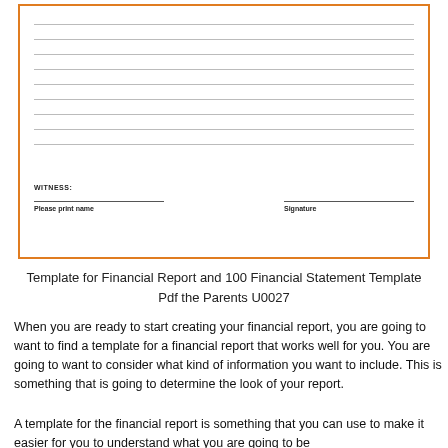[Figure (other): A form box with horizontal ruled lines and a witness signature section with 'Please print name' and 'Signature' fields, bordered in orange.]
Template for Financial Report and 100 Financial Statement Template Pdf the Parents U0027
When you are ready to start creating your financial report, you are going to want to find a template for a financial report that works well for you. You are going to want to consider what kind of information you want to include. This is something that is going to determine the look of your report.
A template for the financial report is something that you can use to make it easier for you to understand what you are going to be